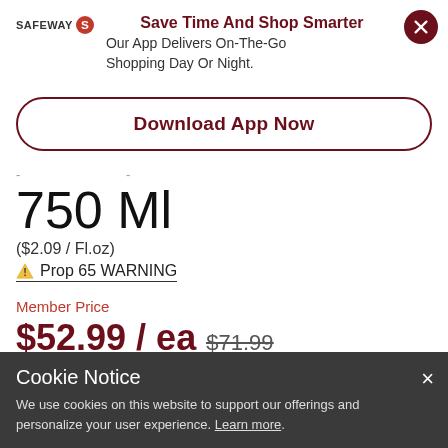[Figure (logo): Safeway logo with red circle icon]
Save Time And Shop Smarter
Our App Delivers On-The-Go Shopping Day Or Night.
Download App Now
750 Ml
($2.09 / Fl.oz)
⚠ Prop 65 WARNING
Member Price
$52.99 / ea $71.99
$52.99 Save Up To: $19.0 (Valid for orders through 1/1/23)
Cookie Notice
We use cookies on this website to support our offerings and personalize your user experience. Learn more.